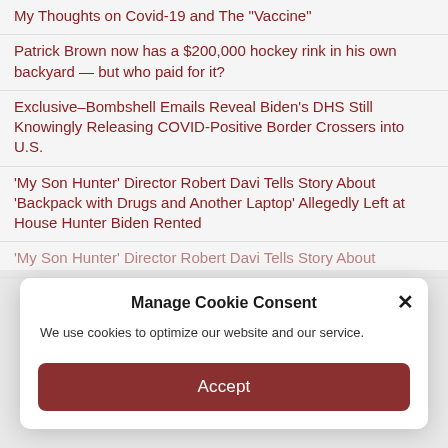My Thoughts on Covid-19 and The "Vaccine"
Patrick Brown now has a $200,000 hockey rink in his own backyard — but who paid for it?
Exclusive–Bombshell Emails Reveal Biden's DHS Still Knowingly Releasing COVID-Positive Border Crossers into U.S.
'My Son Hunter' Director Robert Davi Tells Story About 'Backpack with Drugs and Another Laptop' Allegedly Left at House Hunter Biden Rented
'My Son Hunter' Director Robert Davi Tells Story About
Manage Cookie Consent
We use cookies to optimize our website and our service.
Accept